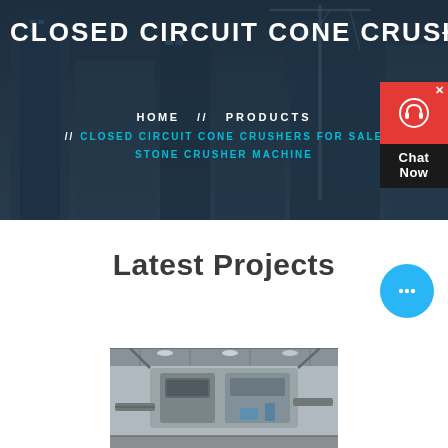CLOSED CIRCUIT CONE CRUSHER
HOME // PRODUCTS // CLOSED CIRCUIT CONE CRUSHERS FOR SALE STONE CRUSHER MACHINE
Latest Projects
[Figure (photo): Industrial stone crusher machine inside a factory/plant setting, showing heavy machinery with steel framework and conveyor systems]